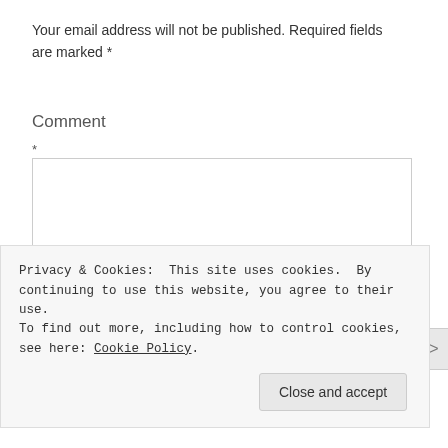Your email address will not be published. Required fields are marked *
Comment
*
[Comment text area]
Privacy & Cookies: This site uses cookies. By continuing to use this website, you agree to their use.
To find out more, including how to control cookies, see here: Cookie Policy
Close and accept